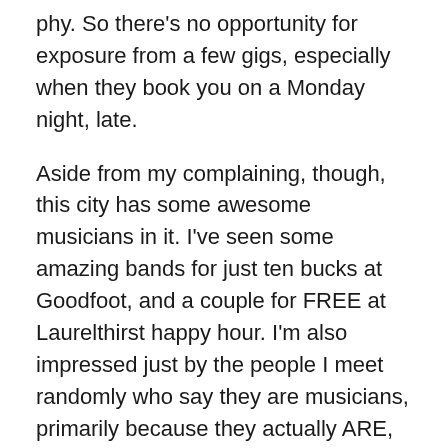phy. So there's no opportunity for exposure from a few gigs, especially when they book you on a Monday night, late.
Aside from my complaining, though, this city has some awesome musicians in it. I've seen some amazing bands for just ten bucks at Goodfoot, and a couple for FREE at Laurelthirst happy hour. I'm also impressed just by the people I meet randomly who say they are musicians, primarily because they actually ARE, not like the half-assed guitar players I met so many of in San Diego. Sal and I have surmised that it's because during the winter there's not much else to do but get drunk and practice. And there are no winters in San Diego.
Who, dead or alive, would you love to perform with most and why?